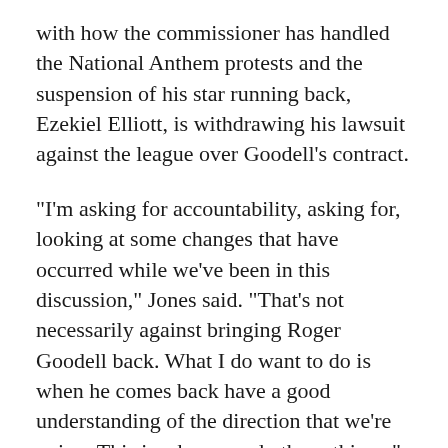with how the commissioner has handled the National Anthem protests and the suspension of his star running back, Ezekiel Elliott, is withdrawing his lawsuit against the league over Goodell's contract.
"I'm asking for accountability, asking for, looking at some changes that have occurred while we've been in this discussion," Jones said. "That's not necessarily against bringing Roger Goodell back. What I do want to do is when he comes back have a good understanding of the direction that we're going. This is when you do those things."
Jones also addressed a tweet posted by President Donald Trump Wednesday morning, which read, "The NFL is now thinking about a new idea -- keeping teams in the Locker Room during the National